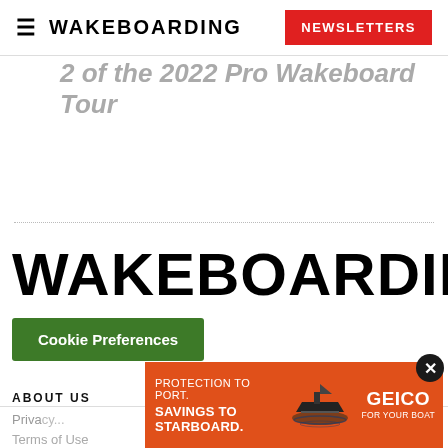≡ WAKEBOARDING | NEWSLETTERS
2 of the 2022 Pro Wakeboard Tour
WAKEBOARDING
Cookie Preferences
ABOUT US
Priva...
Terms of Use
[Figure (infographic): GEICO boat insurance advertisement: orange background with text 'PROTECTION TO PORT. SAVINGS TO STARBOARD.' with GEICO logo and boat illustration]